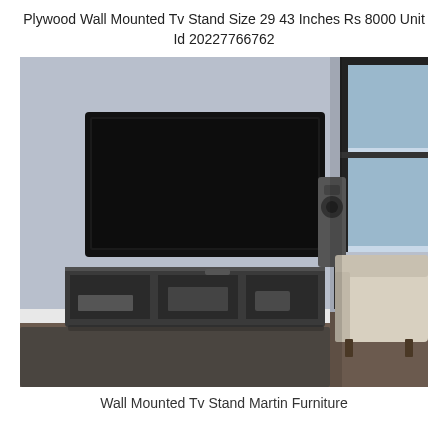Plywood Wall Mounted Tv Stand Size 29 43 Inches Rs 8000 Unit Id 20227766762
[Figure (photo): A wall-mounted dark grey floating TV stand shelf with open compartments holding electronics, mounted on a light blue-grey wall below a flat-screen TV. A floor speaker stands to the right, and a white armchair is partially visible in the corner by a window.]
Wall Mounted Tv Stand Martin Furniture